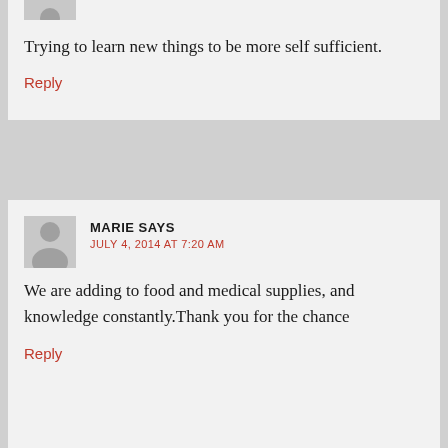[Figure (illustration): Partial avatar/profile image placeholder at top of page, grey silhouette, cropped]
Trying to learn new things to be more self sufficient.
Reply
[Figure (illustration): Avatar/profile image placeholder, grey silhouette of person]
MARIE SAYS
JULY 4, 2014 AT 7:20 AM
We are adding to food and medical supplies, and knowledge constantly.Thank you for the chance
Reply